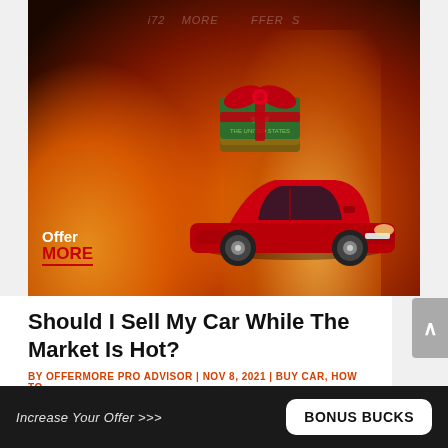[Figure (photo): Promotional image with a red sports car and a gift-wrapped bundle of cash set against a dramatic fire/flame background, with OfferMore logo in bottom left and watermark text across the top.]
Should I Sell My Car While The Market Is Hot?
BY OFFERMORE PRO ADVISOR | NOV 8, 2021 | BUY CAR, HOW TO
Increase Your Offer >>>
BONUS BUCKS